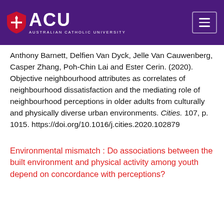[Figure (logo): ACU (Australian Catholic University) logo with shield icon on purple header bar with hamburger menu button]
Anthony Barnett, Delfien Van Dyck, Jelle Van Cauwenberg, Casper Zhang, Poh-Chin Lai and Ester Cerin. (2020). Objective neighbourhood attributes as correlates of neighbourhood dissatisfaction and the mediating role of neighbourhood perceptions in older adults from culturally and physically diverse urban environments. Cities. 107, p. 1015. https://doi.org/10.1016/j.cities.2020.102879
Environmental mismatch : Do associations between the built environment and physical activity among youth depend on concordance with perceptions?
Loh, Venurs H. Y., Veitch, Jenny, Salmon, Jo, Cerin, Ester, Mavoa, Suzanne, Villanueva, Karen and